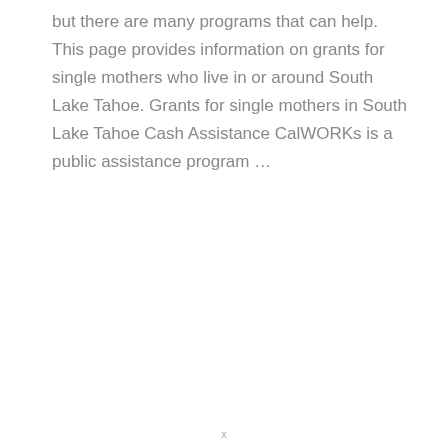but there are many programs that can help. This page provides information on grants for single mothers who live in or around South Lake Tahoe. Grants for single mothers in South Lake Tahoe Cash Assistance CalWORKs is a public assistance program …
x